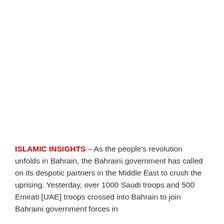ISLAMIC INSIGHTS – As the people's revolution unfolds in Bahrain, the Bahraini government has called on its despotic partners in the Middle East to crush the uprising. Yesterday, over 1000 Saudi troops and 500 Emirati [UAE] troops crossed into Bahrain to join Bahraini government forces in